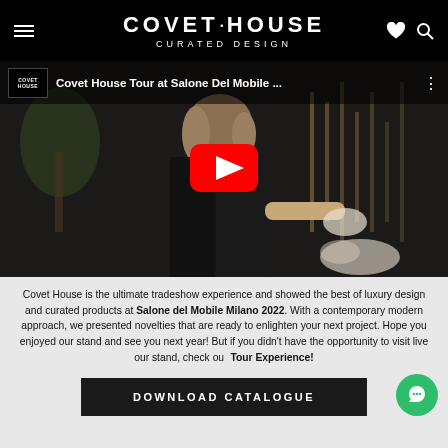COVET·HOUSE CURATED DESIGN
[Figure (screenshot): YouTube video thumbnail showing a woman at Salone Del Mobile fair with play button overlay. Title: 'Covet House Tour at Salone Del Mobile ...']
Covet House is the ultimate tradeshow experience and showed the best of luxury design and curated products at Salone del Mobile Milano 2022. With a contemporary modern approach, we presented novelties that are ready to enlighten your next project. Hope you enjoyed our stand and see you next year! But if you didn't have the opportunity to visit live our stand, check our Tour Experience!
DOWNLOAD CATALOGUE